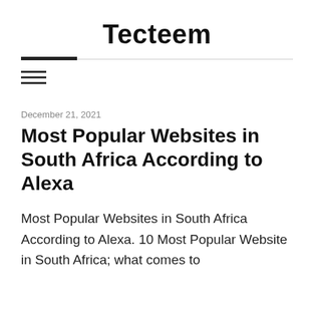Tecteem
Most Popular Websites in South Africa According to Alexa
December 21, 2021
Most Popular Websites in South Africa According to Alexa. 10 Most Popular Website in South Africa; what comes to